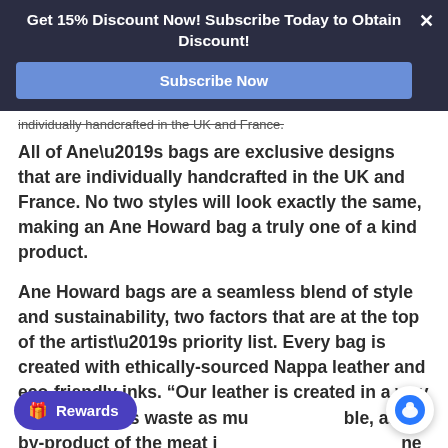Get 15% Discount Now! Subscribe Today to Obtain Discount!
Subscribe Now
All of Ane’s bags are exclusive designs that are individually handcrafted in the UK and France. No two styles will look exactly the same, making an Ane Howard bag a truly one of a kind product.
Ane Howard bags are a seamless blend of style and sustainability, two factors that are at the top of the artist’s priority list. Every bag is created with ethically-sourced Nappa leather and eco-friendly inks. "Our leather is created in a way that minimizes waste as much as possible, as a by-product of the meat industry,” says Ane Howard. All Ane Howard bags are made to order, a practice that reduces waste and